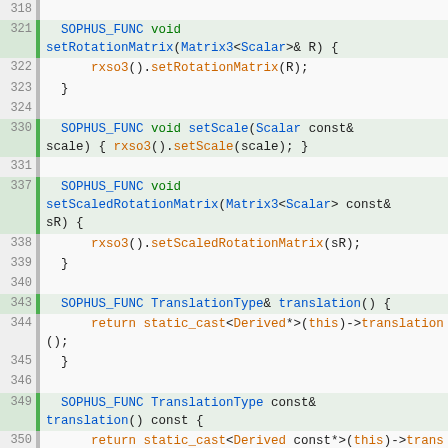[Figure (screenshot): Source code screenshot showing C++ code for Sim3 class with line numbers 318-360, including methods setRotationMatrix, setScale, setScaledRotationMatrix, translation, and class template definition.]